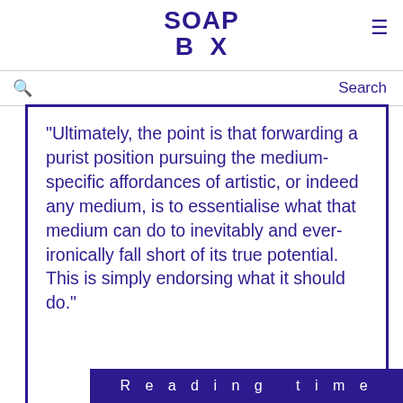SOAP BOX
"Ultimately, the point is that forwarding a purist position pursuing the medium-specific affordances of artistic, or indeed any medium, is to essentialise what that medium can do to inevitably and ever-ironically fall short of its true potential. This is simply endorsing what it should do."
Indeed, when it comes to AV art, I share Christoph Cox's opinion that synchresis is a waste of sonic matter. Yet conversely, there is equally no one-to-one relationship between ear/eye and audio/visual – modality is more complex than that. And gladly so, as
Reading time